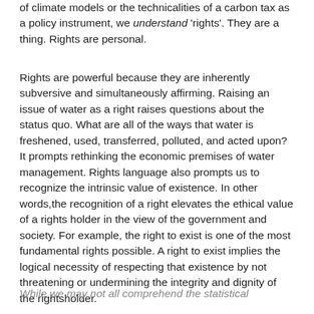of climate models or the technicalities of a carbon tax as a policy instrument, we understand 'rights'. They are a thing. Rights are personal.
Rights are powerful because they are inherently subversive and simultaneously affirming. Raising an issue of water as a right raises questions about the status quo. What are all of the ways that water is freshened, used, transferred, polluted, and acted upon? It prompts rethinking the economic premises of water management. Rights language also prompts us to recognize the intrinsic value of existence. In other words,the recognition of a right elevates the ethical value of a rights holder in the view of the government and society. For example, the right to exist is one of the most fundamental rights possible. A right to exist implies the logical necessity of respecting that existence by not threatening or undermining the integrity and dignity of the rightsholder.
While we may not all comprehend the statistical